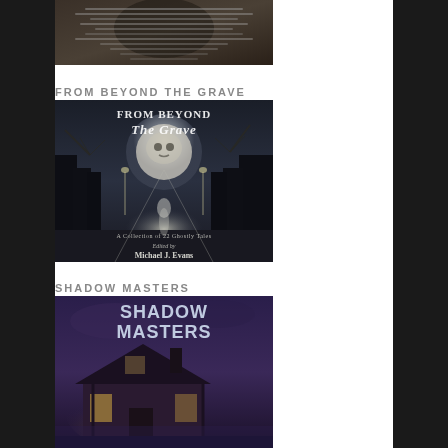[Figure (photo): Partial book cover at top of page, dark toned with text overlay]
FROM BEYOND THE GRAVE
[Figure (photo): Book cover: From Beyond The Grave - A Collection of 22 Ghostly Tales, Edited by Michael J. Evans. Dark cover with skull, full moon, glowing pathway, ghostly figure]
SHADOW MASTERS
[Figure (photo): Book cover: Shadow Masters - dark purple-toned cover showing a haunted house with glowing windows]